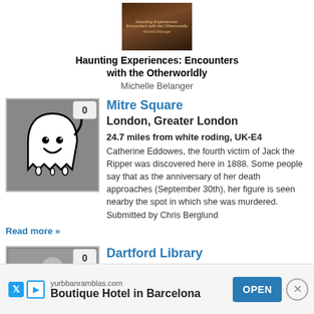[Figure (illustration): Book cover for 'Haunting Experiences: Encounters with the Otherworldly' by Michelle Belanger — dark atmospheric cover]
Haunting Experiences: Encounters with the Otherworldly
Michelle Belanger
[Figure (illustration): Ghost cartoon icon on grey background with vote badge showing 0]
Mitre Square
London, Greater London
24.7 miles from white roding, UK-E4
Catherine Eddowes, the fourth victim of Jack the Ripper was discovered here in 1888. Some people say that as the anniversary of her death approaches (September 30th), her figure is seen nearby the spot in which she was murdered. Submitted by Chris Berglund
Read more »
[Figure (photo): Partial thumbnail for Dartford Library listing]
Dartford Library
yurbbanramblas.com
Boutique Hotel in Barcelona